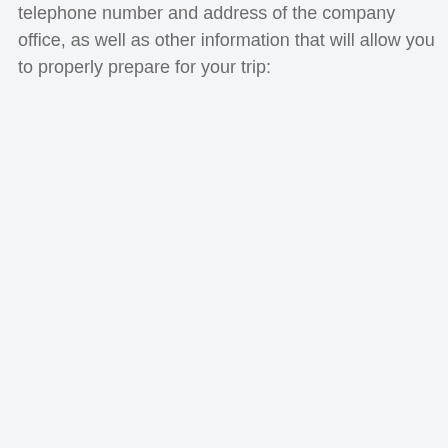telephone number and address of the company office, as well as other information that will allow you to properly prepare for your trip: